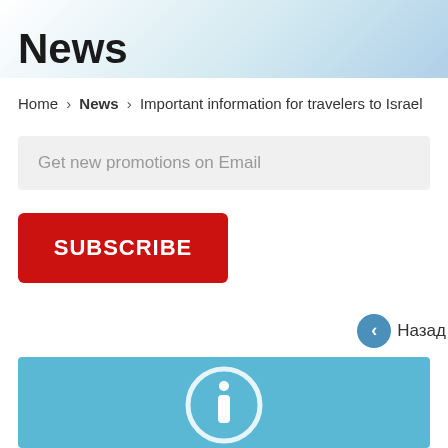News
Home › News › Important information for travelers to Israel
Get new promotions on Email
SUBSCRIBE
Назад
[Figure (illustration): Blue banner with white information 'i' icon circle]